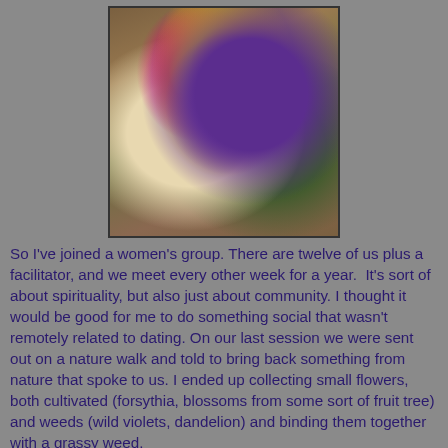[Figure (photo): A hand holding a small bouquet of mixed flowers including purple, yellow, and pink blooms, held above a ground covered in dried brown leaves and green plants.]
So I've joined a women's group. There are twelve of us plus a facilitator, and we meet every other week for a year.  It's sort of about spirituality, but also just about community. I thought it would be good for me to do something social that wasn't remotely related to dating. On our last session we were sent out on a nature walk and told to bring back something from nature that spoke to us. I ended up collecting small flowers, both cultivated (forsythia, blossoms from some sort of fruit tree) and weeds (wild violets, dandelion) and binding them together with a grassy weed.